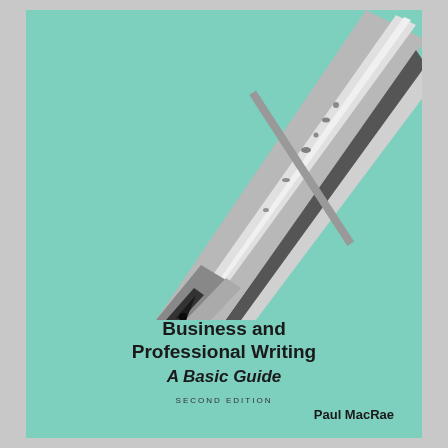[Figure (photo): Close-up photograph of a silver metallic pen tip/nib pointing downward against a teal/mint green background]
Business and Professional Writing A Basic Guide
SECOND EDITION
Paul MacRae